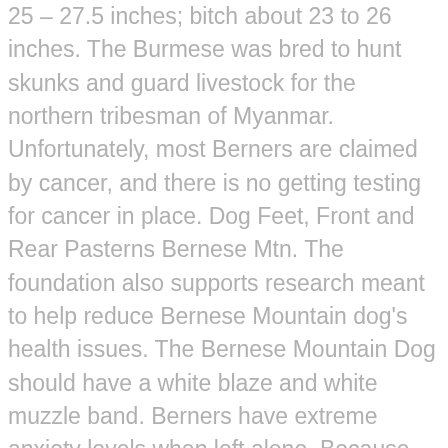25 – 27.5 inches; bitch about 23 to 26 inches. The Burmese was bred to hunt skunks and guard livestock for the northern tribesman of Myanmar. Unfortunately, most Berners are claimed by cancer, and there is no getting testing for cancer in place. Dog Feet, Front and Rear Pasterns Bernese Mtn. The foundation also supports research meant to help reduce Bernese Mountain dog's health issues. The Bernese Mountain Dog should have a white blaze and white muzzle band. Berners have extreme anxiety levels when left alone. Because they were initially bred to help farmers haul large carts around, Bernese mountain dogs will prove very helpful during family activities. Download this e-book for guidance on these questions and other important factors to consider when looking for a puppy. Many of these big, lovable animals are lost early due to the hereditary cancers listed above or other health conditions. Failing to train a Berner early means you will end up with a headstrong companion on your hands. Bernese Mountain dog health problems include hip dysplasia, elbow